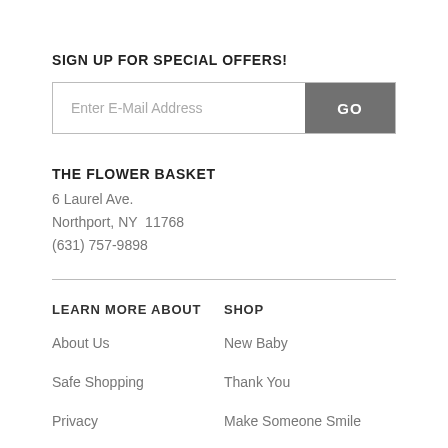SIGN UP FOR SPECIAL OFFERS!
Enter E-Mail Address | GO
THE FLOWER BASKET
6 Laurel Ave.
Northport, NY  11768
(631) 757-9898
LEARN MORE ABOUT
SHOP
About Us
New Baby
Safe Shopping
Thank You
Privacy
Make Someone Smile